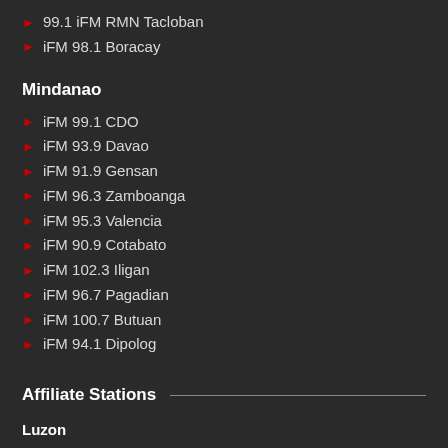99.1 iFM RMN Tacloban
iFM 98.1 Boracay
Mindanao
iFM 99.1 CDO
iFM 93.9 Davao
iFM 91.9 Gensan
iFM 96.3 Zamboanga
iFM 95.3 Valencia
iFM 90.9 Cotabato
iFM 102.3 Iligan
iFM 96.7 Pagadian
iFM 100.7 Butuan
iFM 94.1 Dipolog
Affiliate Stations
Luzon
DYMM 774 AM Manila